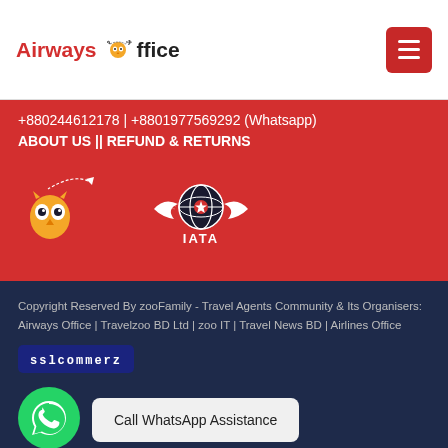Airways Office
+880244612178 | +8801977569292 (Whatsapp)
ABOUT US || REFUND & RETURNS
[Figure (logo): Airways Office mascot logo with cartoon owl and airplane]
[Figure (logo): IATA logo with globe and wings]
Copyright Reserved By zooFamily - Travel Agents Community & Its Organisers: Airways Office | Travelzoo BD Ltd | zoo IT | Travel News BD | Airlines Office
[Figure (logo): SSLCommerz payment badge]
[Figure (other): WhatsApp icon green circle with phone icon]
Call WhatsApp Assistance